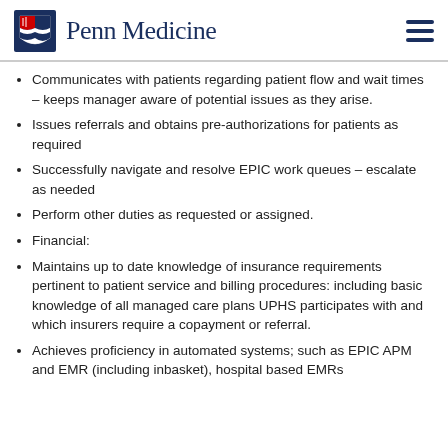Penn Medicine
Communicates with patients regarding patient flow and wait times – keeps manager aware of potential issues as they arise.
Issues referrals and obtains pre-authorizations for patients as required
Successfully navigate and resolve EPIC work queues – escalate as needed
Perform other duties as requested or assigned.
Financial:
Maintains up to date knowledge of insurance requirements pertinent to patient service and billing procedures: including basic knowledge of all managed care plans UPHS participates with and which insurers require a copayment or referral.
Achieves proficiency in automated systems; such as EPIC APM and EMR (including inbasket), hospital based EMRs